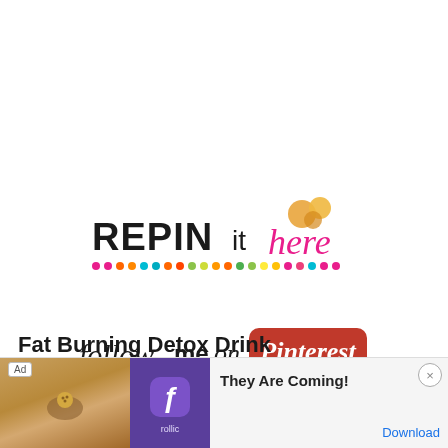[Figure (logo): REPIN it here logo with colorful dots row beneath and orange/yellow bubbles above the 'here' script text]
[Figure (logo): follow me on Pinterest logo with cursive 'follow me on' text and Pinterest red rounded rectangle badge]
Fat Burning Detox Drink
I've me...
[Figure (infographic): Ad banner: Rollic game ad with 'They Are Coming!' headline and Download button, showing a bowling-style game image]